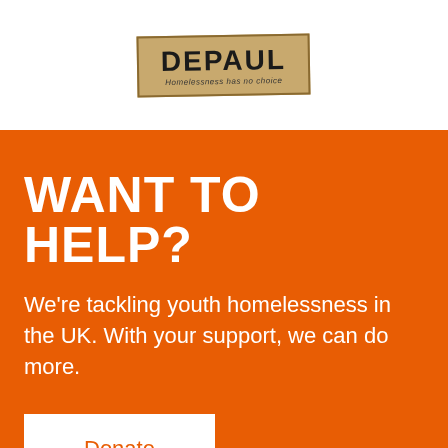[Figure (logo): Depaul charity logo on a tan/beige textured background with text 'DEPAUL' in bold uppercase and subtitle 'Homeless has no choice']
WANT TO HELP?
We're tackling youth homelessness in the UK. With your support, we can do more.
Donate